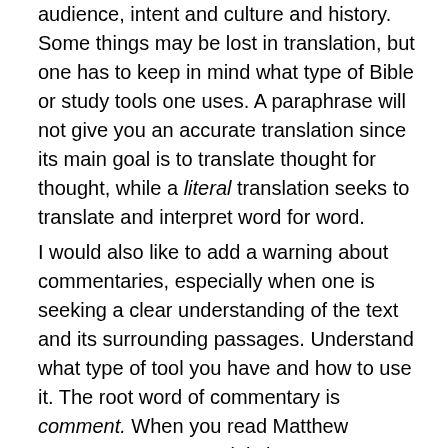audience, intent and culture and history.  Some things may be lost in translation, but one has to keep in mind what type of Bible or study tools one uses.  A paraphrase will not give you an accurate translation since its main goal is to translate thought for thought, while a literal translation seeks to translate and interpret word for word.
I would also like to add a warning about commentaries, especially when one is seeking a clear understanding of the text and its surrounding passages.  Understand what type of tool you have and how to use it.  The root word of commentary is comment.  When you read Matthew Henry's commentary, it is just a comment by Matthew Henry on that book of the Bible or the entire Bible itself.  What you get is an insight into that particular person's views on it.  If I use Matthew Henry, I am limited to the